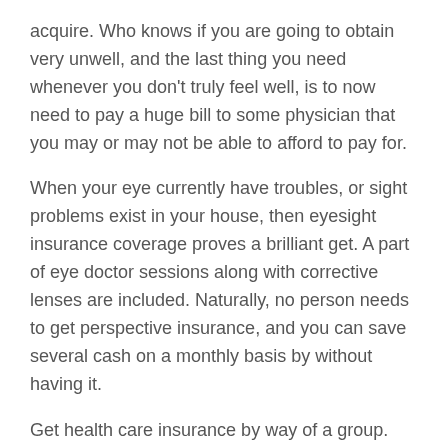acquire. Who knows if you are going to obtain very unwell, and the last thing you need whenever you don't truly feel well, is to now need to pay a huge bill to some physician that you may or may not be able to afford to pay for.
When your eye currently have troubles, or sight problems exist in your house, then eyesight insurance coverage proves a brilliant get. A part of eye doctor sessions along with corrective lenses are included. Naturally, no person needs to get perspective insurance, and you can save several cash on a monthly basis by without having it.
Get health care insurance by way of a group. May it be an employee class, a union organization, or another business that works with particular types of men and women, verify should they have health insurance. Numerous organizations provide reduced medical health insurance plans in the event you subscribe to it as a group associate, so join up!